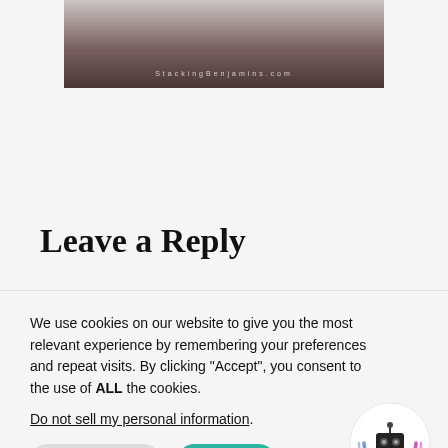[Figure (photo): Partial view of a dark gradient image banner with 'StackingBenjamins.com' watermark text at the bottom]
Leave a Reply
We use cookies on our website to give you the most relevant experience by remembering your preferences and repeat visits. By clicking “Accept”, you consent to the use of ALL the cookies.
Do not sell my personal information.
Cookie Settings   Accept